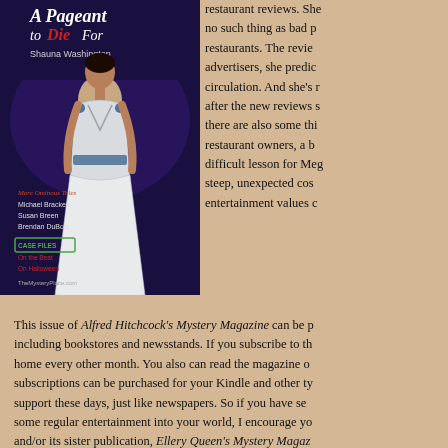[Figure (illustration): Book cover for Alfred Hitchcock Mystery Magazine featuring 'A Pageant to Die For' by Shauna Washington. Shows a Black woman in a white wedding/formal gown. Also lists More Ominous Tales by Michael Bracken, Susan Breen, Brendan DuBois. Case Files: On the Beat, On Halloween. TheMysterPlace.com at bottom.]
restaurant reviews. She no such thing as bad p restaurants. The review advertisers, she predic circulation. And she's r after the new reviews s there are also some thi restaurant owners, a b difficult lesson for Meg steep, unexpected cost entertainment values c
This issue of Alfred Hitchcock's Mystery Magazine can be p including bookstores and newsstands. If you subscribe to th home every other month. You also can read the magazine o subscriptions can be purchased for your Kindle and other ty support these days, just like newspapers. So if you have se some regular entertainment into your world, I encourage yo and/or its sister publication, Ellery Queen's Mystery Magaz member this holiday season.